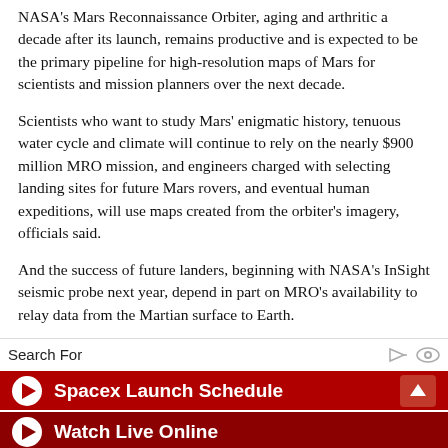NASA's Mars Reconnaissance Orbiter, aging and arthritic a decade after its launch, remains productive and is expected to be the primary pipeline for high-resolution maps of Mars for scientists and mission planners over the next decade.
Scientists who want to study Mars' enigmatic history, tenuous water cycle and climate will continue to rely on the nearly $900 million MRO mission, and engineers charged with selecting landing sites for future Mars rovers, and eventual human expeditions, will use maps created from the orbiter's imagery, officials said.
And the success of future landers, beginning with NASA's InSight seismic probe next year, depend in part on MRO's availability to relay data from the Martian surface to Earth.
“It’s taken for granted,” said Richard Zurek, MRO’s project
Search For
Spacex Launch Schedule
Watch Live Online